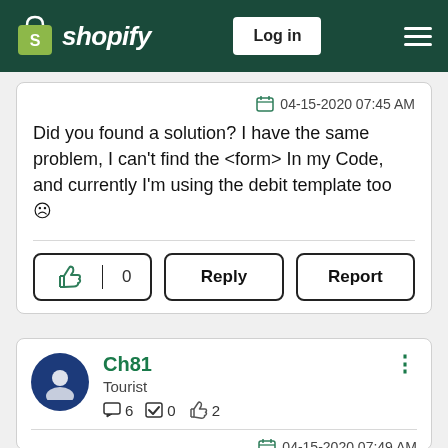shopify — Log in
04-15-2020 07:45 AM
Did you found a solution? I have the same problem, I can't find the <form> In my Code, and currently I'm using the debit template too ☹
👍 0  Reply  Report
Ch81 — Tourist — 6 posts, 0 solutions, 2 likes
04-15-2020 07:49 AM